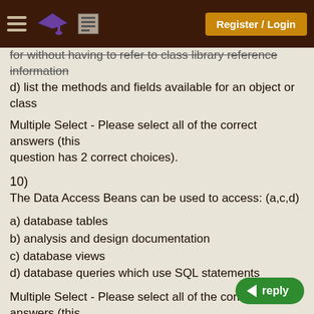Register / Login
for without having to refer to class library reference information
d) list the methods and fields available for an object or class
Multiple Select - Please select all of the correct answers (this question has 2 correct choices).
10)
The Data Access Beans can be used to access: (a,c,d)
a) database tables
b) analysis and design documentation
c) database views
d) database queries which use SQL statements
Multiple Select - Please select all of the correct answers (this question has 3 correct choices).